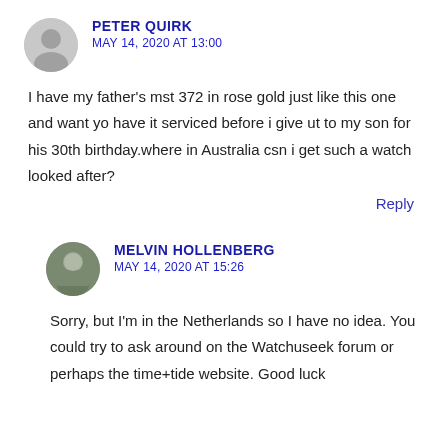PETER QUIRK
MAY 14, 2020 AT 13:00
I have my father's mst 372 in rose gold just like this one and want yo have it serviced before i give ut to my son for his 30th birthday.where in Australia csn i get such a watch looked after?
Reply
MELVIN HOLLENBERG
MAY 14, 2020 AT 15:26
Sorry, but I'm in the Netherlands so I have no idea. You could try to ask around on the Watchuseek forum or perhaps the time+tide website. Good luck